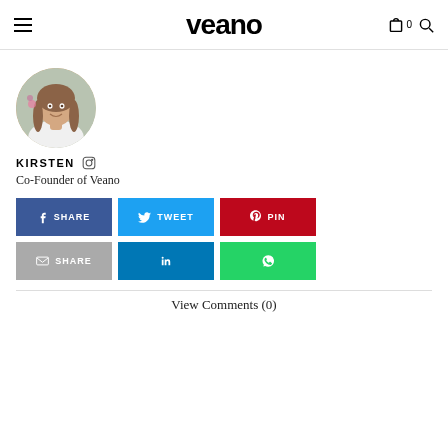veano
[Figure (photo): Circular profile photo of Kirsten, a woman with long brown hair, smiling and resting her chin on her hand, with flowers in the background.]
KIRSTEN
Co-Founder of Veano
[Figure (infographic): Social share buttons: SHARE (Facebook), TWEET (Twitter), PIN (Pinterest), SHARE (Email), LinkedIn, WhatsApp]
View Comments (0)